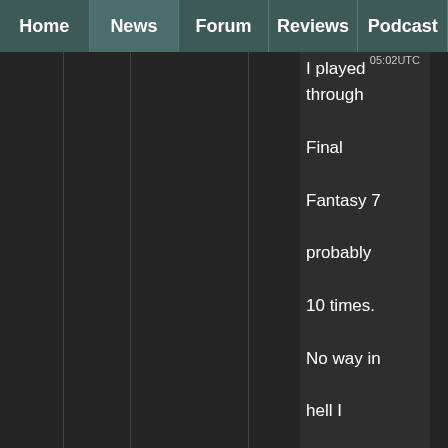Home | News | Forum | Reviews | Podcast
I played through Final Fantasy 7 probably 10 times. No way in hell I could do that with a game of that scope these days.

Oh, and Mirror's
05:02UTC